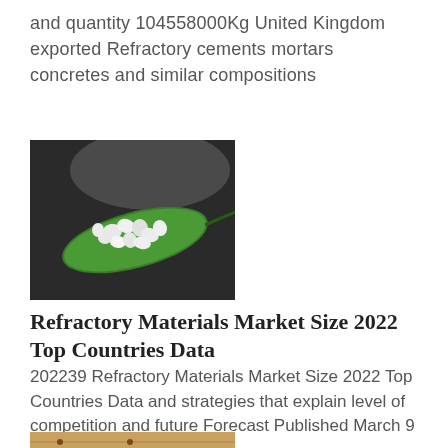and quantity 104558000Kg United Kingdom exported Refractory cements mortars concretes and similar compositions
[Figure (photo): White mineral/stone chunks arranged on a green leaf against a dark background]
Refractory Materials Market Size 2022 Top Countries Data
202239 Refractory Materials Market Size 2022 Top Countries Data and strategies that explain level of competition and future Forecast Published March 9 2022 at 1215 am ET
[Figure (photo): Wooden clothespins or similar wooden items arranged in diagonal rows on a wooden surface]